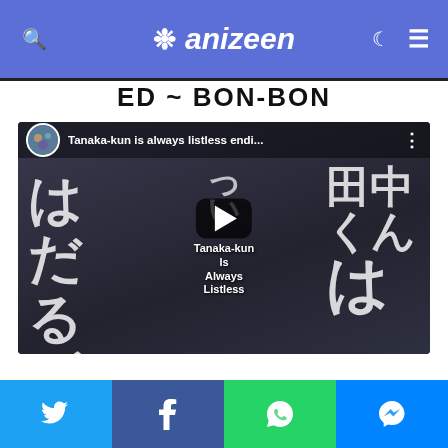anizeen
ED ~ BON-BON
[Figure (screenshot): YouTube video embed for 'Tanaka-kun is always listless endi...' showing anime characters with Japanese text and a play button overlay. Text on video: 'Tanaka-kun Is Always Listless']
Twitter | Facebook | WhatsApp | Messenger social share buttons